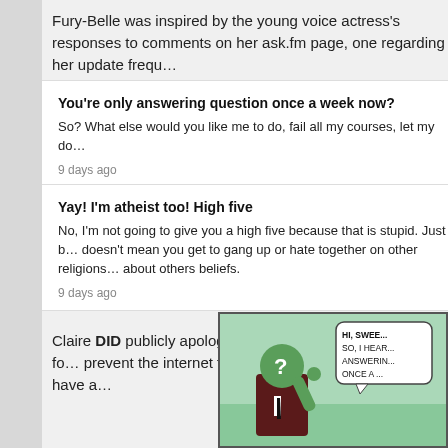Fury-Belle was inspired by the young voice actress's responses to comments on her ask.fm page, one regarding her update frequ...
You're only answering question once a week now?
So? What else would you like me to do, fail all my courses, let my do...
9 days ago
Yay! I'm atheist too! High five
No, I'm not going to give you a high five because that is stupid. Just b... doesn't mean you get to gang up or hate together on other religions... about others beliefs.
9 days ago
Claire DID publicly apologize for the outburst and was largely fo... prevent the internet from using the new-found attitude to have a...
[Figure (illustration): Comic strip panel showing a green-skinned figure in a dark suit with a question mark for a face, gesturing with hand raised. A speech bubble reads: HI, SWEE... SO, I HEAR... ANSWERIN... ONCE A ...]